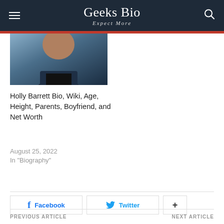Geeks Bio — Expect More
[Figure (photo): Partially visible person wearing dark jacket and t-shirt, head cropped at top]
Holly Barrett Bio, Wiki, Age, Height, Parents, Boyfriend, and Net Worth
August 25, 2022
In "Biography"
Facebook
Twitter
PREVIOUS ARTICLE    NEXT ARTICLE